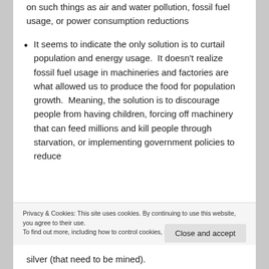on such things as air and water pollution, fossil fuel usage, or power consumption reductions
It seems to indicate the only solution is to curtail population and energy usage.  It doesn't realize fossil fuel usage in machineries and factories are what allowed us to produce the food for population growth.  Meaning, the solution is to discourage people from having children, forcing off machinery that can feed millions and kill people through starvation, or implementing government policies to reduce
Privacy & Cookies: This site uses cookies. By continuing to use this website, you agree to their use.
To find out more, including how to control cookies, see here: Cookie Policy
silver (that need to be mined).